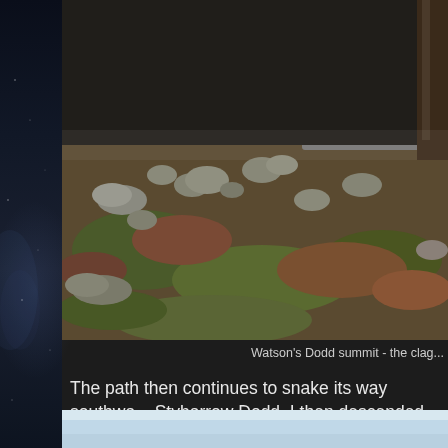[Figure (photo): Rocky moorland summit scene at Watson's Dodd showing stones, mossy ground and a dry stone wall]
Watson's Dodd summit - the clag...
The path then continues to snake its way southwa... Stybarrow Dodd. I then descended eastwards towa... before looking for a suitable spot to make camp. By... and I was thankful to find a dry stone wall on the ea... looked like a great wind break. It was only after foll... a suitably flat area that I got back below the cloud b...
[Figure (photo): Pale blue sky scene, partially visible at bottom of page]